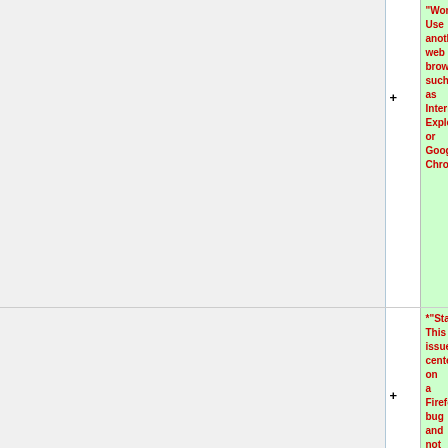| (left) | (diff marker) | (right content) |
| --- | --- | --- |
|  | + | "Workaround": Use another web browser, such as Internet Explorer or Google Chrome. |
|  | + | *"Status": This issue centers on a Firefox bug and not an e-Learning bug. |
|  | + | -- [[User:Khaskell|Kate]] 08:11, 27 March 2014 (EDT) |
|  | + |  |
|  | + | ==== Importing sites with many items in Lessons can interfere with importing course ==== |
|  | + | *"System": Sakai |